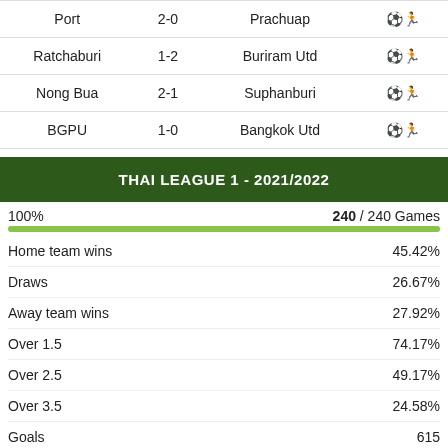| Home | Score | Away | Icon |
| --- | --- | --- | --- |
| Port | 2-0 | Prachuap | ⚽ |
| Ratchaburi | 1-2 | Buriram Utd | ⚽ |
| Nong Bua | 2-1 | Suphanburi | ⚽ |
| BGPU | 1-0 | Bangkok Utd | ⚽ |
THAI LEAGUE 1 - 2021/2022
100%  240 / 240 Games
Home team wins  45.42%
Draws  26.67%
Away team wins  27.92%
Over 1.5  74.17%
Over 2.5  49.17%
Over 3.5  24.58%
Goals  615
Goals /match  2.56
Goals /match home  1.41